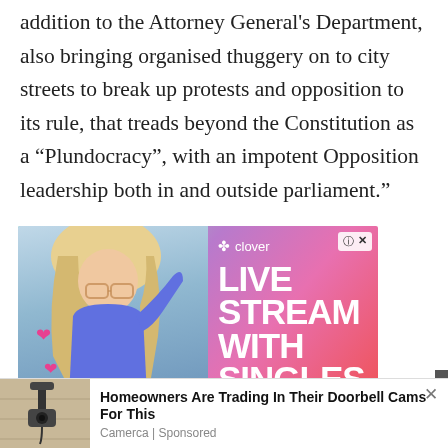addition to the Attorney General's Department, also bringing organised thuggery on to city streets to break up protests and opposition to its rule, that treads beyond the Constitution as a “Plundocracy”, with an impotent Opposition leadership both in and outside parliament.”
[Figure (photo): Online advertisement for Clover app showing a blonde woman in a blue outfit with pink heart emojis, gradient pink-purple background, text reading 'LIVE STREAM WITH SINGLES' and Clover logo]
[Figure (photo): Promotional ad unit at bottom showing a security camera mounted on a wall, with headline 'Homeowners Are Trading In Their Doorbell Cams For This' from Camerca (Sponsored)]
Homeowners Are Trading In Their Doorbell Cams For This
Camerca | Sponsored